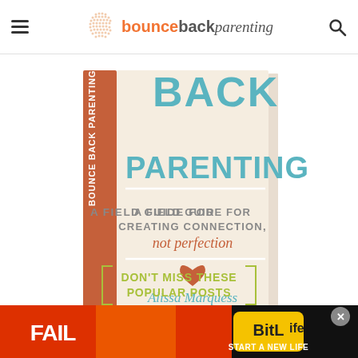bounceback parenting
[Figure (photo): Book cover of 'Bounce Back Parenting: A Field Guide for Creating Connection, not perfection' by Alissa Marquess, creator of bouncebackparenting.com. The book is shown as a 3D render with a terracotta/orange spine and cream cover with teal and orange lettering.]
DON'T MISS THESE POPULAR POSTS
[Figure (screenshot): Advertisement banner with colorful cartoon characters, fire imagery, and the text 'FAIL', 'BitLife', 'START A NEW LIFE' with a close button.]